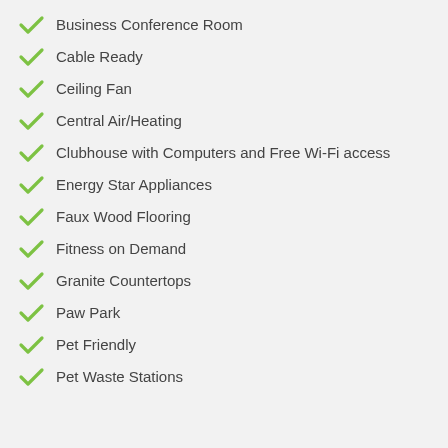Business Conference Room
Cable Ready
Ceiling Fan
Central Air/Heating
Clubhouse with Computers and Free Wi-Fi access
Energy Star Appliances
Faux Wood Flooring
Fitness on Demand
Granite Countertops
Paw Park
Pet Friendly
Pet Waste Stations